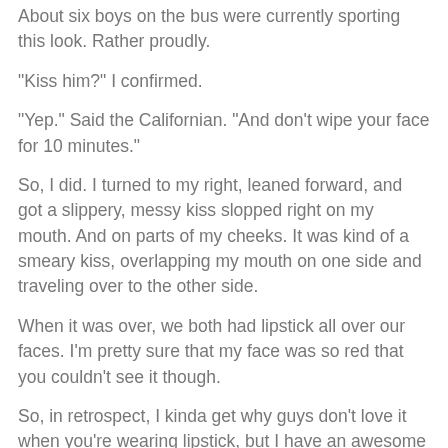About six boys on the bus were currently sporting this look. Rather proudly.
"Kiss him?" I confirmed.
"Yep." Said the Californian. "And don't wipe your face for 10 minutes."
So, I did. I turned to my right, leaned forward, and got a slippery, messy kiss slopped right on my mouth. And on parts of my cheeks. It was kind of a smeary kiss, overlapping my mouth on one side and traveling over to the other side.
When it was over, we both had lipstick all over our faces. I'm pretty sure that my face was so red that you couldn't see it though.
So, in retrospect, I kinda get why guys don't love it when you're wearing lipstick, but I have an awesome first kiss story.
Yes. I was in North Carolina, and I kissed a sexy Texan wearing lipstick.